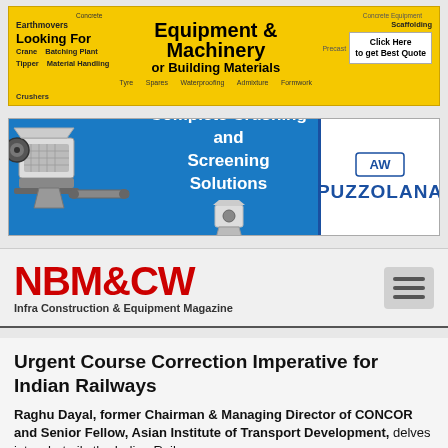[Figure (infographic): Yellow banner advertisement for Equipment & Machinery or Building Materials with various category tags like Earthmovers, Crane, Crushers, Tipper, Material Handling, Concrete, Tyre, Batching Plant, Spares, Waterproofing, Admixture, Furnware, Concrete Equipment, Scaffolding, Precast, and a 'Click Here to get Best Quote' button]
[Figure (infographic): Blue Puzzolana banner showing crushing machinery images with text 'Complete Crushing and Screening Solutions' and the Puzzolana brand logo on the right]
[Figure (logo): NBM&CW logo in red with subtitle 'Infra Construction & Equipment Magazine' and hamburger menu icon]
Urgent Course Correction Imperative for Indian Railways
Raghu Dayal, former Chairman & Managing Director of CONCOR and Senior Fellow, Asian Institute of Transport Development, delves into what ails the Indian Railways